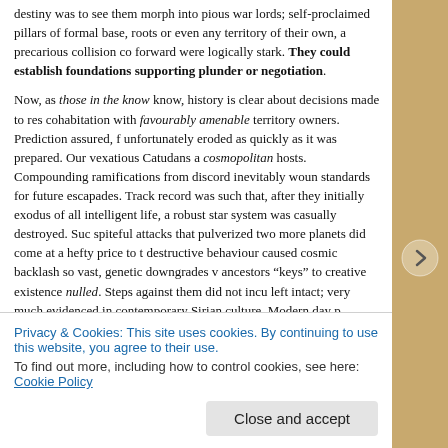destiny was to see them morph into pious war lords; self-proclaimed pillars of formal base, roots or even any territory of their own, a precarious collision co forward were logically stark. They could establish foundations supporting plunder or negotiation.
Now, as those in the know know, history is clear about decisions made to res cohabitation with favourably amenable territory owners. Prediction assured, f unfortunately eroded as quickly as it was prepared. Our vexatious Catudans a cosmopolitan hosts. Compounding ramifications from discord inevitably woun standards for future escapades. Track record was such that, after they initially exodus of all intelligent life, a robust star system was casually destroyed. Suc spiteful attacks that pulverized two more planets did come at a hefty price to t destructive behaviour caused cosmic backlash so vast, genetic downgrades v ancestors "keys" to creative existence nulled. Steps against them did not incu left intact; very much evidenced in contemporary Sirian culture. Modern day p unrestricted access to the Tamarian (an inter-permeable membrane separa known as the Quantum Layer). Use of the energy field is currently limited to i
Privacy & Cookies: This site uses cookies. By continuing to use this website, you agree to their use. To find out more, including how to control cookies, see here: Cookie Policy